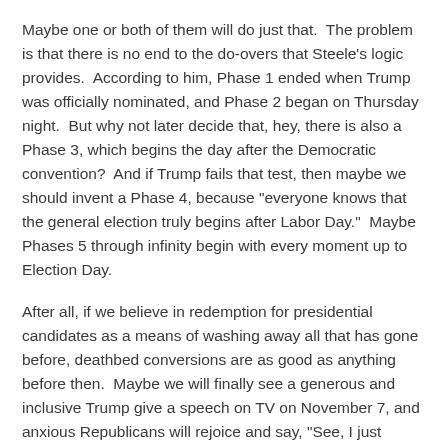Maybe one or both of them will do just that.  The problem is that there is no end to the do-overs that Steele's logic provides.  According to him, Phase 1 ended when Trump was officially nominated, and Phase 2 began on Thursday night.  But why not later decide that, hey, there is also a Phase 3, which begins the day after the Democratic convention?  And if Trump fails that test, then maybe we should invent a Phase 4, because "everyone knows that the general election truly begins after Labor Day."  Maybe Phases 5 through infinity begin with every moment up to Election Day.
After all, if we believe in redemption for presidential candidates as a means of washing away all that has gone before, deathbed conversions are as good as anything before then.  Maybe we will finally see a generous and inclusive Trump give a speech on TV on November 7, and anxious Republicans will rejoice and say, "See, I just wanted him to change his tone!  Now I can vote for him tomorrow with a clear conscience."  And that is how willful blindness by good people can change history.